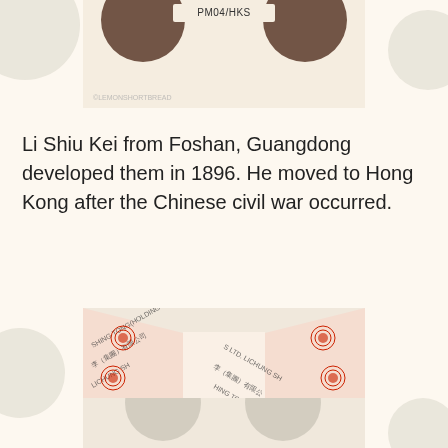[Figure (photo): Top portion of a photo showing a product box labeled PM04/HKS with brown polka dots and a watermark reading LEMONSHORTBREAD]
Li Shiu Kei from Foshan, Guangdong developed them in 1896. He moved to Hong Kong after the Chinese civil war occurred.
[Figure (photo): Photo of an open product box with Chinese packaging decorated with red floral circular patterns and Chinese characters. Inside is a product with Chinese text on an orange and pink label. Watermark reads LEMONSHORTBREAD.]
[Figure (photo): Bottom portion of a photo showing a polka dot patterned product box, partially cropped at the bottom of the page]